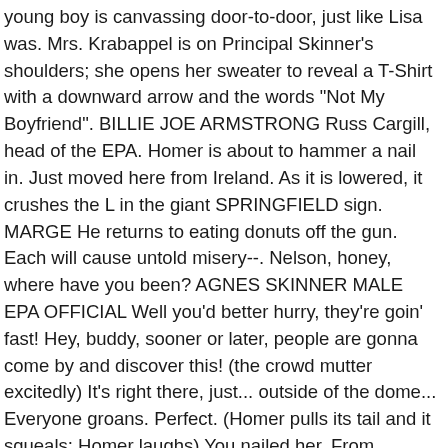young boy is canvassing door-to-door, just like Lisa was. Mrs. Krabappel is on Principal Skinner's shoulders; she opens her sweater to reveal a T-Shirt with a downward arrow and the words "Not My Boyfriend". BILLIE JOE ARMSTRONG Russ Cargill, head of the EPA. Homer is about to hammer a nail in. Just moved here from Ireland. As it is lowered, it crushes the L in the giant SPRINGFIELD sign. MARGE He returns to eating donuts off the gun. Each will cause untold misery--. Nelson, honey, where have you been? AGNES SKINNER MALE EPA OFFICIAL Well you'd better hurry, they're goin' fast! Hey, buddy, sooner or later, people are gonna come by and discover this! (the crowd mutter excitedly) It's right there, just... outside of the dome... Everyone groans. Perfect. (Homer pulls its tail and it squeals; Homer laughs) You nailed her. From halfway through, Ralph Wiggum sings along with the tune. FRINK I thought that too, until he said "yard trimmings". MARGE First Church of Springfield,